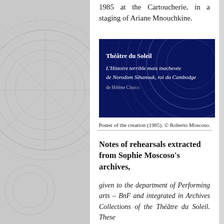1985 at the Cartoucherie, in a staging of Ariane Mnouchkine.
[Figure (photo): Blue poster for Théâtre du Soleil production 'L'Histoire terrible mais inachevée de Norodom Sihanouk, roi du Cambodge de Hélène Cixous' with white text on dark blue background with circular light patterns]
Poster of the creation (1985). © Roberto Moscoso.
Notes of rehearsals extracted from Sophie Moscoso's archives,
given to the department of Performing arts – BnF and integrated in Archives Collections of the Théâtre du Soleil. These